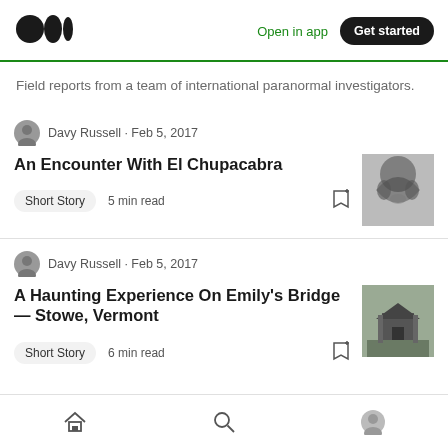Medium — Open in app | Get started
Field reports from a team of international paranormal investigators.
Davy Russell · Feb 5, 2017
An Encounter With El Chupacabra
Short Story   5 min read
Davy Russell · Feb 5, 2017
A Haunting Experience On Emily's Bridge — Stowe, Vermont
Short Story   6 min read